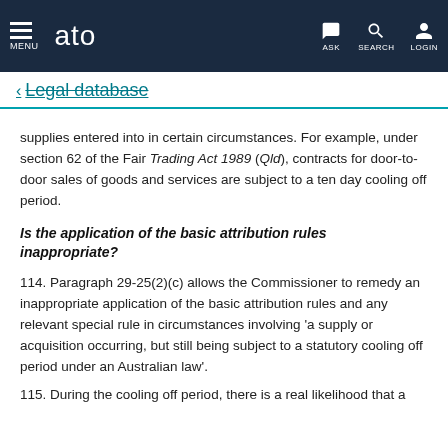ato — MENU | ASK | SEARCH | LOGIN
← Legal database
supplies entered into in certain circumstances. For example, under section 62 of the Fair Trading Act 1989 (Qld), contracts for door-to-door sales of goods and services are subject to a ten day cooling off period.
Is the application of the basic attribution rules inappropriate?
114. Paragraph 29-25(2)(c) allows the Commissioner to remedy an inappropriate application of the basic attribution rules and any relevant special rule in circumstances involving 'a supply or acquisition occurring, but still being subject to a statutory cooling off period under an Australian law'.
115. During the cooling off period, there is a real likelihood that a